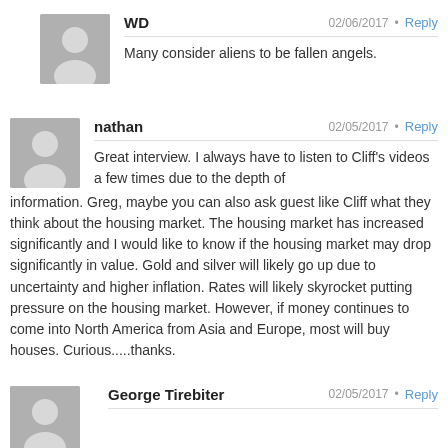WD — 02/06/2017 • Reply
Many consider aliens to be fallen angels.
nathan — 02/05/2017 • Reply
Great interview. I always have to listen to Cliff's videos a few times due to the depth of information. Greg, maybe you can also ask guest like Cliff what they think about the housing market. The housing market has increased significantly and I would like to know if the housing market may drop significantly in value. Gold and silver will likely go up due to uncertainty and higher inflation. Rates will likely skyrocket putting pressure on the housing market. However, if money continues to come into North America from Asia and Europe, most will buy houses. Curious.....thanks.
George Tirebiter — 02/05/2017 • Reply